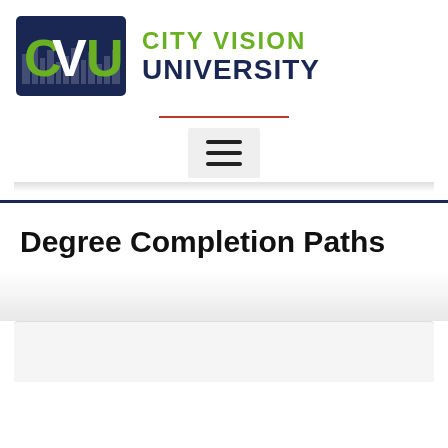[Figure (logo): City Vision University logo with stylized CVU letters and city skyline in navy and green, with 'CITY VISION UNIVERSITY' text]
Degree Completion Paths